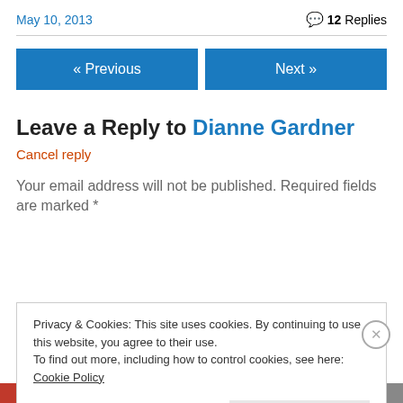May 10, 2013
💬 12 Replies
« Previous
Next »
Leave a Reply to Dianne Gardner
Cancel reply
Your email address will not be published. Required fields are marked *
Privacy & Cookies: This site uses cookies. By continuing to use this website, you agree to their use.
To find out more, including how to control cookies, see here: Cookie Policy
Close and accept